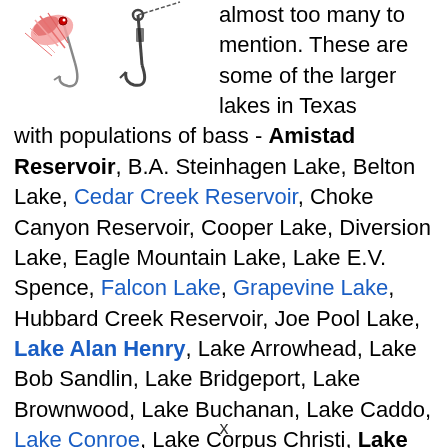[Figure (illustration): Two fishing lures/hooks illustration at top left of the page]
almost too many to mention. These are some of the larger lakes in Texas with populations of bass - Amistad Reservoir, B.A. Steinhagen Lake, Belton Lake, Cedar Creek Reservoir, Choke Canyon Reservoir, Cooper Lake, Diversion Lake, Eagle Mountain Lake, Lake E.V. Spence, Falcon Lake, Grapevine Lake, Hubbard Creek Reservoir, Joe Pool Lake, Lake Alan Henry, Lake Arrowhead, Lake Bob Sandlin, Lake Bridgeport, Lake Brownwood, Lake Buchanan, Lake Caddo, Lake Conroe, Lake Corpus Christi, Lake Fork Reservoir, Lake Granbury, Lake Houston, Lake J.B. Thomas, Lake Kemp, Lake Kickapoo, Lake Lewisville, Lake Limestone, Lake Livingston, Lake Lyndon B Johnson, Lake
x